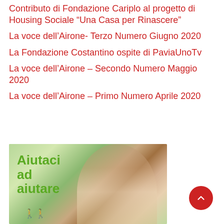Contributo di Fondazione Cariplo al progetto di Housing Sociale “Una Casa per Rinascere”
La voce dell’Airone- Terzo Numero Giugno 2020
La Fondazione Costantino ospite di PaviaUnoTv
La voce dell’Airone – Secondo Numero Maggio 2020
La voce dell’Airone – Primo Numero Aprile 2020
[Figure (photo): Promotional banner image with green background showing a smiling woman looking up, with bold green text reading 'Aiutaci ad aiutare' (Help us to help) and small human figures at the bottom left.]